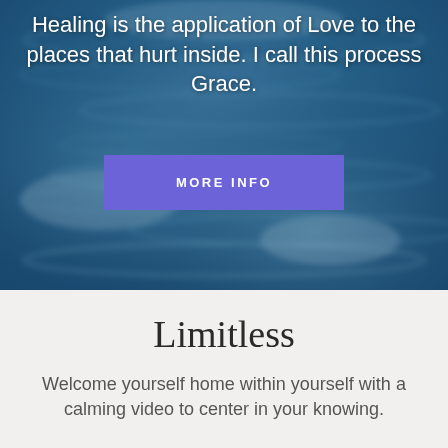[Figure (photo): Blurred underwater ocean water surface photo with blue tones, serving as hero background]
Healing is the application of Love to the places that hurt inside. I call this process Grace.
MORE INFO
Limitless
Welcome yourself home within yourself with a calming video to center in your knowing.